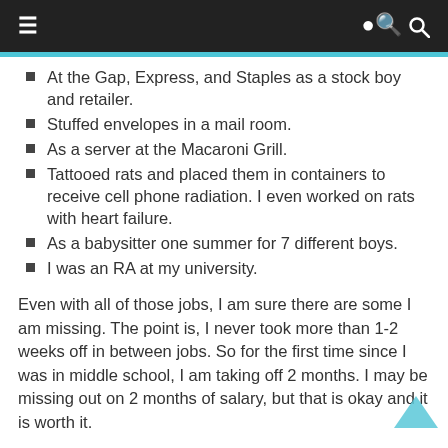≡  🔍
At the Gap, Express, and Staples as a stock boy and retailer.
Stuffed envelopes in a mail room.
As a server at the Macaroni Grill.
Tattooed rats and placed them in containers to receive cell phone radiation. I even worked on rats with heart failure.
As a babysitter one summer for 7 different boys.
I was an RA at my university.
Even with all of those jobs, I am sure there are some I am missing. The point is, I never took more than 1-2 weeks off in between jobs. So for the first time since I was in middle school, I am taking off 2 months. I may be missing out on 2 months of salary, but that is okay and it is worth it.